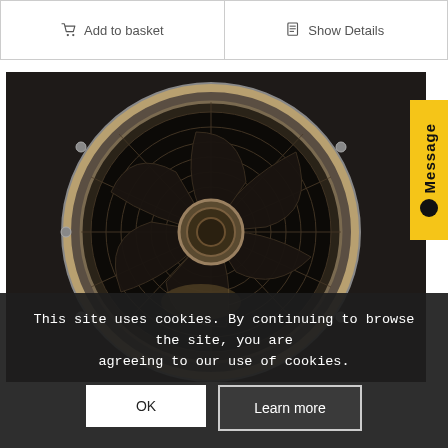Add to basket | Show Details
[Figure (photo): Close-up photo of an industrial axial fan with large metal blades inside a circular housing, viewed from the front.]
Message
This site uses cookies. By continuing to browse the site, you are agreeing to our use of cookies.
OK | Learn more